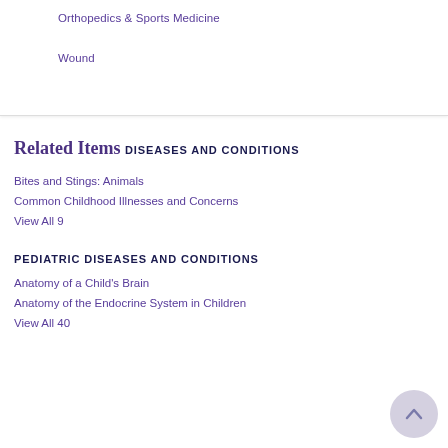Orthopedics & Sports Medicine
Wound
Related Items
DISEASES AND CONDITIONS
Bites and Stings: Animals
Common Childhood Illnesses and Concerns
View All 9
PEDIATRIC DISEASES AND CONDITIONS
Anatomy of a Child's Brain
Anatomy of the Endocrine System in Children
View All 40